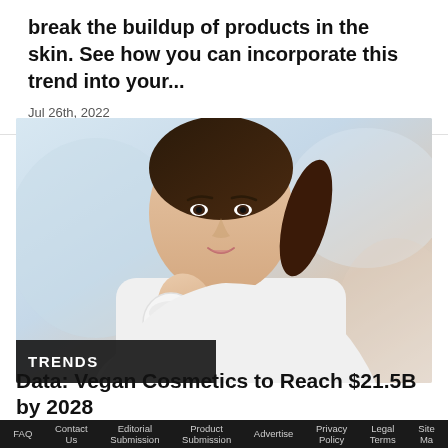break the buildup of products in the skin. See how you can incorporate this trend into your...
Jul 26th, 2022
[Figure (photo): Woman in white top holding a white skincare product container, smiling at camera. Blue-tinted background. TRENDS label overlay at bottom left.]
TRENDS
Data: Vegan Cosmetics to Reach $21.5B by 2028
FAQ  Contact Us  Editorial Submission  Product Submission  Advertise  Privacy Policy  Legal Terms  Site Ma...